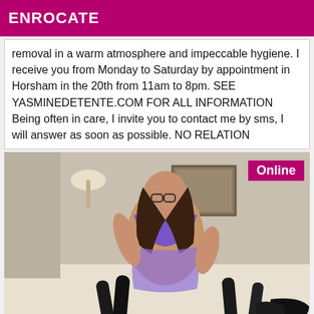ENROCATE
removal in a warm atmosphere and impeccable hygiene. I receive you from Monday to Saturday by appointment in Horsham in the 20th from 11am to 8pm. SEE YASMINEDETENTE.COM FOR ALL INFORMATION Being often in care, I invite you to contact me by sms, I will answer as soon as possible. NO RELATION
[Figure (photo): Woman in purple lingerie posing on a bed with various objects, with an Online badge in top right corner]